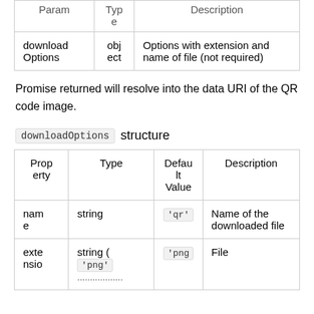| Param | Type | Description |
| --- | --- | --- |
| downloadOptions | object | Options with extension and name of file (not required) |
Promise returned will resolve into the data URI of the QR code image.
downloadOptions structure
| Property | Type | Default Value | Description |
| --- | --- | --- | --- |
| name | string | 'qr' | Name of the downloaded file |
| extension | string ( 'png' ... | 'png | File |